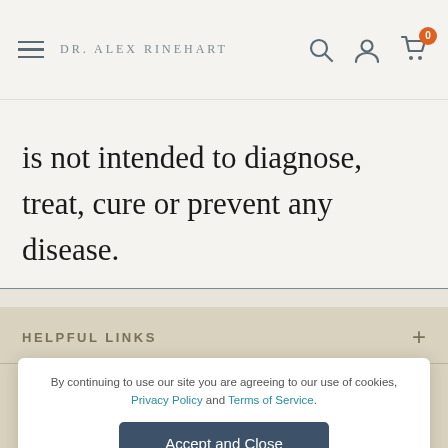Dr. Alex Rinehart
is not intended to diagnose, treat, cure or prevent any disease.
HELPFUL LINKS
By continuing to browse our site you agree to our use of cookies, revised privacy policy and terms of
By continuing to use our site you are agreeing to our use of cookies, Privacy Policy and Terms of Service.
Accept and Close